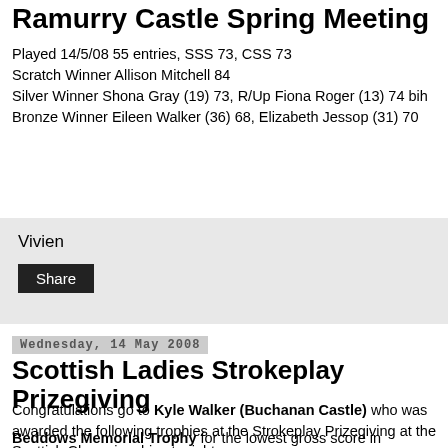Ramurry Castle Spring Meeting
Played 14/5/08 55 entries, SSS 73, CSS 73
Scratch Winner Allison Mitchell 84
Silver Winner Shona Gray (19) 73, R/Up Fiona Roger (13) 74 bih
Bronze Winner Eileen Walker (36) 68, Elizabeth Jessop (31) 70
Vivien
Share
Wednesday, 14 May 2008
Scottish Ladies Strokeplay Prizegiving
Congratulations go to Kyle Walker (Buchanan Castle) who was awarded the following trophies at the Strokeplay Prizegiving at the Scottish Championships tonight.
Beddows Memorial Trophy for the lowest gross score in